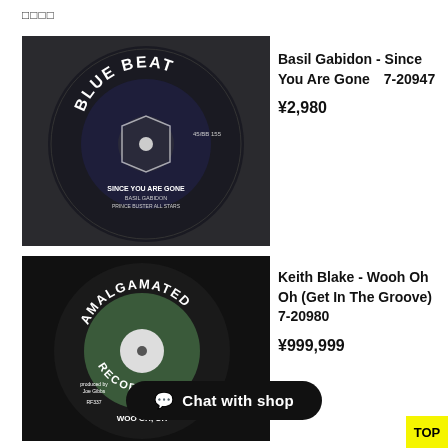□□□□
[Figure (photo): Blue Beat vinyl record label for 'Since You Are Gone' by Basil Gabidon, 45/BB 155]
Basil Gabidon - Since You Are Gone　7-20947
¥2,980
[Figure (photo): Amalgamated Records vinyl label for 'Woo Oh, Oh' (Wooh Oh Oh Get In The Groove), produced by Joe Gibbs, RF337]
Keith Blake - Wooh Oh Oh (Get In The Groove)　7-20980
¥999,999
Chat with shop